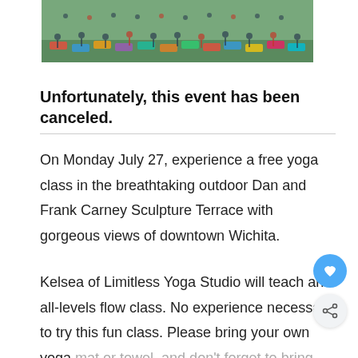[Figure (photo): Aerial view of a large group of people doing yoga outdoors on mats, colorful mats spread across a green area.]
Unfortunately, this event has been canceled.
On Monday July 27, experience a free yoga class in the breathtaking outdoor Dan and Frank Carney Sculpture Terrace with gorgeous views of downtown Wichita.
Kelsea of Limitless Yoga Studio will teach an all-levels flow class. No experience necessary to try this fun class. Please bring your own yoga mat or towel, and don't forget to bring your